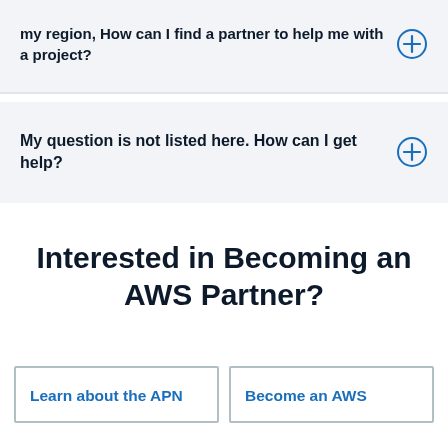my region, How can I find a partner to help me with a project?
My question is not listed here. How can I get help?
Interested in Becoming an AWS Partner?
Learn about the APN
Become an AWS